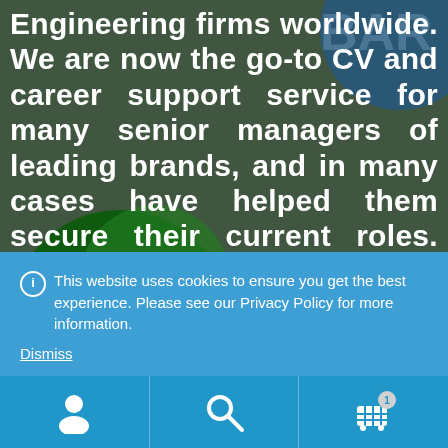[Figure (screenshot): Website screenshot showing a dark greenish background with company logos (bp, GSK, BAR visible) partially visible behind large white bold text promoting a CV and career support service for senior managers of leading brands.]
Engineering firms worldwide. We are now the go-to CV and career support service for many senior managers of leading brands, and in many cases have helped them secure their current roles. We have also been trusted by leading
ℹ This website uses cookies to ensure you get the best experience. Please see our Privacy Policy for more information.
Dismiss